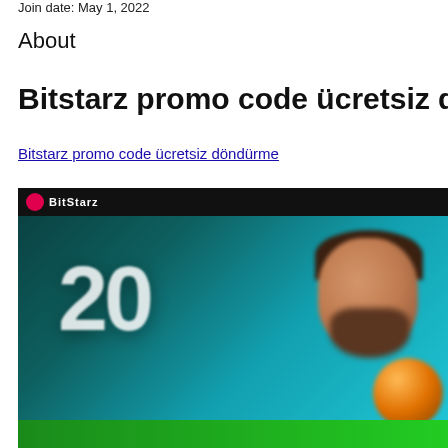Join date: May 1, 2022
About
Bitstarz promo code ücretsiz döndürme
Bitstarz promo code ücretsiz döndürme
[Figure (screenshot): Casino promotional banner showing '20' in large white text on a dark teal/turquoise background, with a cartoon character on the right side and a dark top navigation bar.]